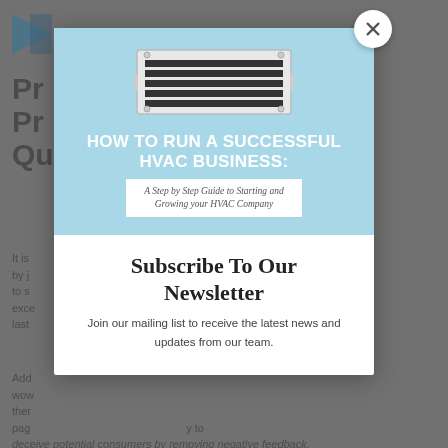[Figure (screenshot): Background page content showing partial HVAC business article with logo and body text, dimmed behind modal overlay]
[Figure (illustration): Book cover with light blue background showing an HVAC air vent and title 'HOW TO RUN A SUCCESSFUL HVAC BUSINESS: A Step by Step Guide to Starting and Growing your HVAC Company']
Subscribe To Our Newsletter
Join our mailing list to receive the latest news and updates from our team.